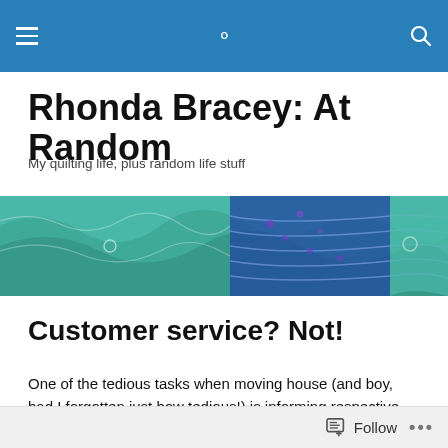Navigation bar with hamburger menu and search icon
Rhonda Bracey: At Random
My quilting life, plus random life stuff
[Figure (photo): A colorful quilt banner image featuring teal, blue, green, and purple wave-like fabric patterns with stitching details]
Customer service? Not!
One of the tedious tasks when moving house (and boy, had I forgotten just how tedious!) is informing respective utilities and providers of your change of address. In the
Follow •••